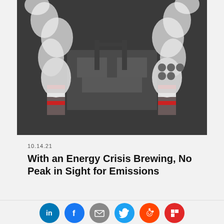[Figure (photo): Aerial view of industrial factory with two smokestacks emitting large plumes of white smoke, viewed from above showing pipes and industrial equipment]
10.14.21
With an Energy Crisis Brewing, No Peak in Sight for Emissions
[Figure (infographic): Social sharing buttons row: LinkedIn (blue), Facebook (blue), Email (grey), Twitter (light blue), Reddit (orange), Flipboard (red)]